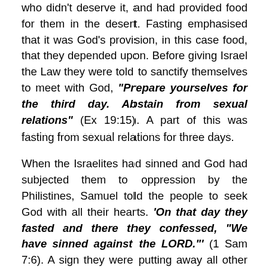who didn't deserve it, and had provided food for them in the desert. Fasting emphasised that it was God's provision, in this case food, that they depended upon. Before giving Israel the Law they were told to sanctify themselves to meet with God, "Prepare yourselves for the third day. Abstain from sexual relations" (Ex 19:15). A part of this was fasting from sexual relations for three days.
When the Israelites had sinned and God had subjected them to oppression by the Philistines, Samuel told the people to seek God with all their hearts. 'On that day they fasted and there they confessed, "We have sinned against the LORD."' (1 Sam 7:6). A sign they were putting away all other gods.
King Jehoshaphat called the people to fast when his